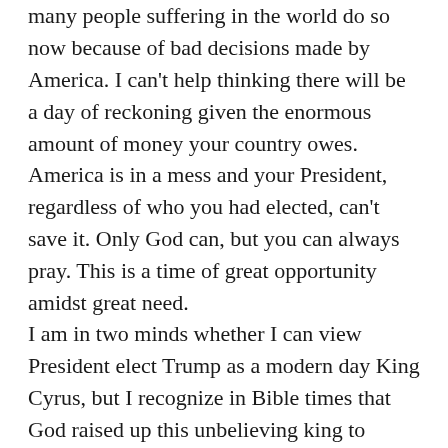many people suffering in the world do so now because of bad decisions made by America. I can't help thinking there will be a day of reckoning given the enormous amount of money your country owes. America is in a mess and your President, regardless of who you had elected, can't save it. Only God can, but you can always pray. This is a time of great opportunity amidst great need.
I am in two minds whether I can view President elect Trump as a modern day King Cyrus, but I recognize in Bible times that God raised up this unbelieving king to